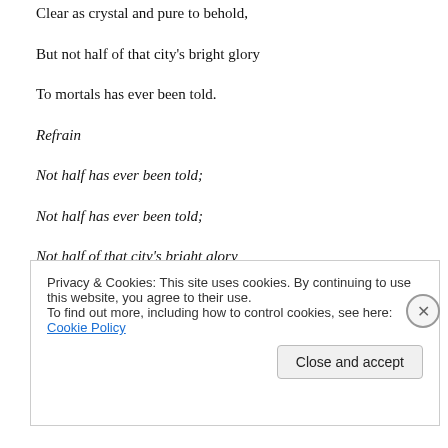Clear as crystal and pure to behold,
But not half of that city's bright glory
To mortals has ever been told.
Refrain
Not half has ever been told;
Not half has ever been told;
Not half of that city's bright glory
To mortals has ever been told.
2.
I have read of bright mansions in Heaven,
Which the Savior has gone to prepare;
Privacy & Cookies: This site uses cookies. By continuing to use this website, you agree to their use. To find out more, including how to control cookies, see here: Cookie Policy
Close and accept